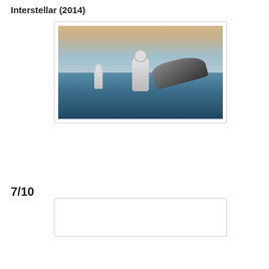Interstellar (2014)
[Figure (photo): Movie still from Interstellar (2014) showing astronauts in space suits standing in shallow water with a spacecraft visible in the background under a dramatic sky.]
7/10
[Figure (infographic): Star rating display showing 7 out of 10 stars filled in gold/yellow, 3 stars outlined/empty.]